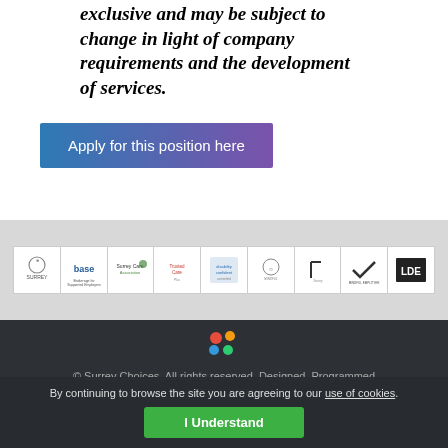exclusive and may be subject to change in light of company requirements and the development of services.
[Figure (other): Apply for this position here button with blue-to-purple gradient]
[Figure (other): Row of partner/accreditation logos including Surrey, base, Surrey Care Association, Trusted Care, Disability Confident, and others on a grey background]
[Figure (logo): Surrey Choices coloured dots logo]
© Surrey Choices. All rights reserved. Designed, Programmed and SEO by JoDzine.
By continuing to browse the site you are agreeing to our use of cookies.
[Figure (other): I Understand green button]